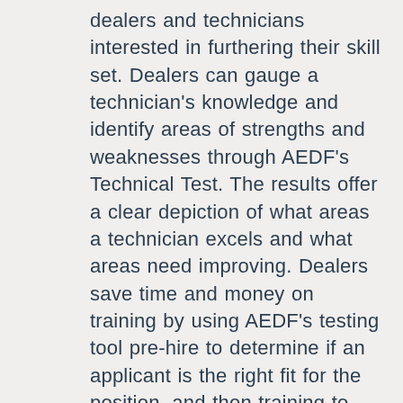dealers and technicians interested in furthering their skill set. Dealers can gauge a technician's knowledge and identify areas of strengths and weaknesses through AEDF's Technical Test. The results offer a clear depiction of what areas a technician excels and what areas need improving. Dealers save time and money on training by using AEDF's testing tool pre-hire to determine if an applicant is the right fit for the position, and then training to focus on weaker areas. Technicians can feel confident that they are taking the steps needed to become a well-rounded, knowledgeable employee by identifying the areas they need to improve upon. Testing costs are regularly $100 for